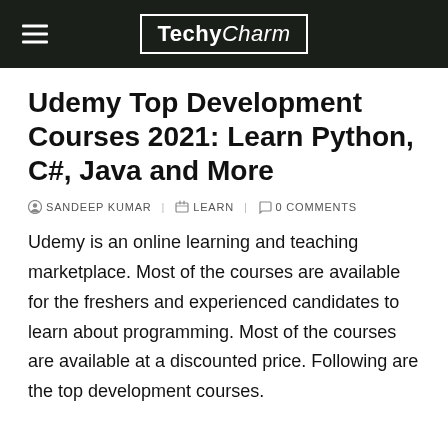TechyCharm
Udemy Top Development Courses 2021: Learn Python, C#, Java and More
SANDEEP KUMAR   LEARN   0 COMMENTS
Udemy is an online learning and teaching marketplace. Most of the courses are available for the freshers and experienced candidates to learn about programming. Most of the courses are available at a discounted price. Following are the top development courses.